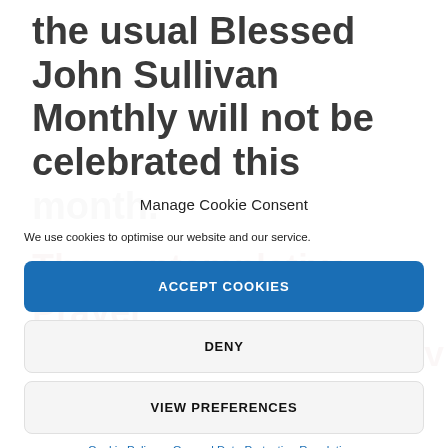the usual Blessed John Sullivan Monthly will not be celebrated this month.
The contemplative Prayer will be held on Saturday
Manage Cookie Consent
We use cookies to optimise our website and our service.
ACCEPT COOKIES
DENY
VIEW PREFERENCES
Cookie Policy   General Data Protection Regulations